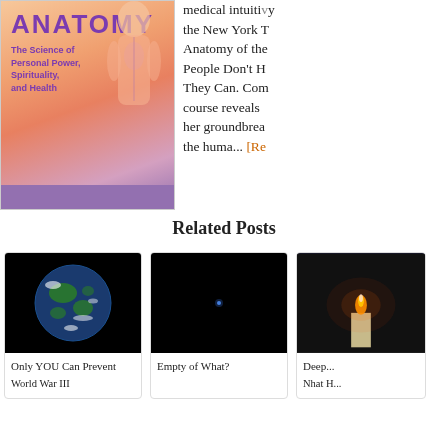[Figure (photo): Book cover for Anatomy of the Spirit showing human torso illustration and purple subtitle bar. Title text visible at top.]
medical intuiti... the New York T... Anatomy of the... People Don't H... They Can. Com... course reveals... her groundbrea... the huma... [Re...
Related Posts
[Figure (photo): Earth from space on black background]
Only YOU Can Prevent
World War III
[Figure (photo): Nearly black image with small bright dot in center]
Empty of What?
[Figure (photo): Candle flame against dark background]
Deep...
Nhat H...